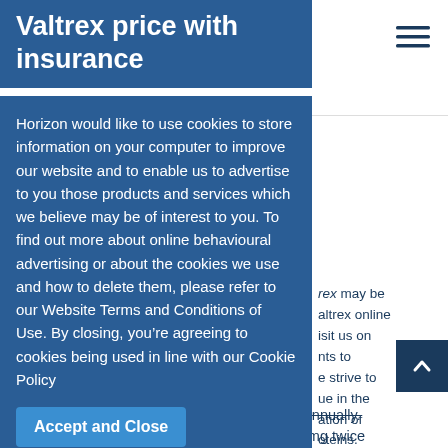Valtrex price with insurance
[Figure (other): Hamburger menu icon (three horizontal lines) in top right corner]
Horizon would like to use cookies to store information on your computer to improve our website and to enable us to advertise to you those products and services which we believe may be of interest to you. To find out more about online behavioural advertising or about the cookies we use and how to delete them, please refer to our Website Terms and Conditions of Use. By closing, you’re agreeing to cookies being used in line with our Cookie Policy
Accept and Close
rex may be
altrex online
isit us on
nts to
e strive to
ue in the
ation of
oteins.
ilities in
Europe, and manufacturing of finished doses annually.
In the UC get valtrex population, XELIANZ 10 mg twice